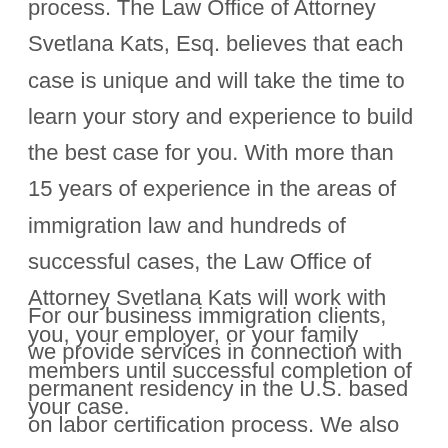process. The Law Office of Attorney Svetlana Kats, Esq. believes that each case is unique and will take the time to learn your story and experience to build the best case for you. With more than 15 years of experience in the areas of immigration law and hundreds of successful cases, the Law Office of Attorney Svetlana Kats will work with you, your employer, or your family members until successful completion of your case.
For our business immigration clients, we provide services in connection with permanent residency in the U.S. based on labor certification process. We also represent clients in